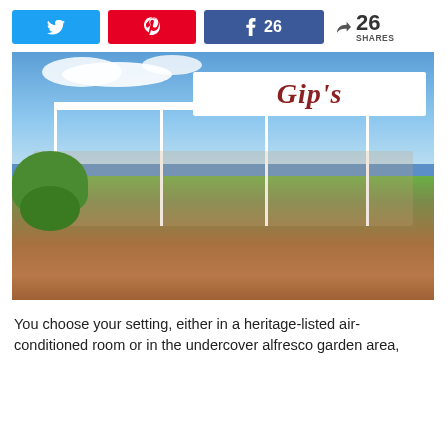[Figure (infographic): Social share bar with Twitter (blue), Pinterest (red), Facebook (blue, 26 shares) buttons, and a share icon with 26 SHARES count]
[Figure (photo): Outdoor photo of Gip's restaurant with white tent/awning structure bearing the 'Gip's' logo in dark red script lettering. People dining at white tables under a clear canopy, surrounded by garden greenery and terracotta pots.]
You choose your setting, either in a heritage-listed air-conditioned room or in the undercover alfresco garden area,